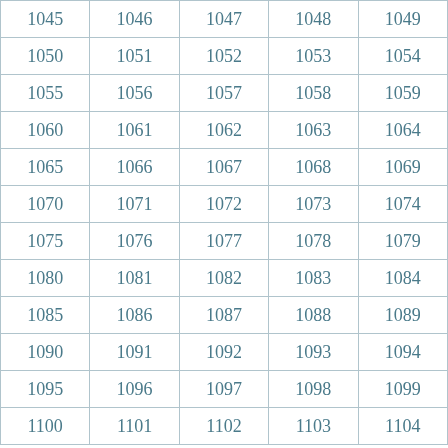| 1045 | 1046 | 1047 | 1048 | 1049 |
| 1050 | 1051 | 1052 | 1053 | 1054 |
| 1055 | 1056 | 1057 | 1058 | 1059 |
| 1060 | 1061 | 1062 | 1063 | 1064 |
| 1065 | 1066 | 1067 | 1068 | 1069 |
| 1070 | 1071 | 1072 | 1073 | 1074 |
| 1075 | 1076 | 1077 | 1078 | 1079 |
| 1080 | 1081 | 1082 | 1083 | 1084 |
| 1085 | 1086 | 1087 | 1088 | 1089 |
| 1090 | 1091 | 1092 | 1093 | 1094 |
| 1095 | 1096 | 1097 | 1098 | 1099 |
| 1100 | 1101 | 1102 | 1103 | 1104 |